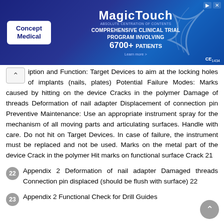[Figure (other): Advertisement banner for MagicTouch by Concept Medical. Text reads: Concept Medical | MagicTouch | COMPREHENSIVE CLINICAL TRIAL PROGRAM INVOLVING 6700+ PATIENTS | CE1434]
iption and Function: Target Devices to aim at the locking holes of implants (nails, plates) Potential Failure Modes: Marks caused by hitting on the device Cracks in the polymer Damage of threads Deformation of nail adapter Displacement of connection pin Preventive Maintenance: Use an appropriate instrument spray for the mechanism of all moving parts and articulating surfaces. Handle with care. Do not hit on Target Devices. In case of failure, the instrument must be replaced and not be used. Marks on the metal part of the device Crack in the polymer Hit marks on functional surface Crack 21
22  Appendix 2 Deformation of nail adapter Damaged threads Connection pin displaced (should be flush with surface) 22
23  Appendix 2 Functional Check for Drill Guides Description and Function: Definition Use: Handle